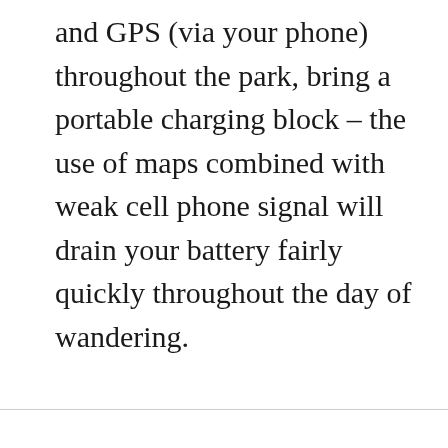and GPS (via your phone) throughout the park, bring a portable charging block – the use of maps combined with weak cell phone signal will drain your battery fairly quickly throughout the day of wandering.